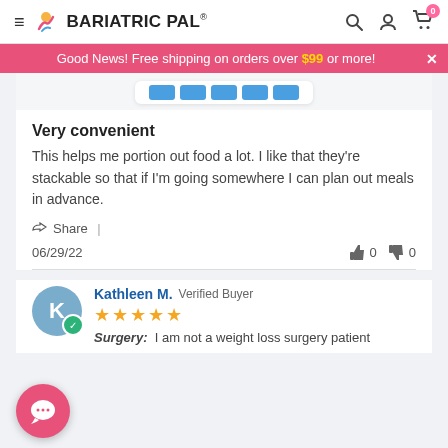BariatricPal® — navigation header with hamburger menu, logo, search, account, cart (0)
Good News! Free shipping on orders over $99 or more!
Very convenient
This helps me portion out food a lot. I like that they're stackable so that if I'm going somewhere I can plan out meals in advance.
Share |
06/29/22  👍 0  👎 0
Kathleen M.  Verified Buyer
★★★★★
Surgery: I am not a weight loss surgery patient